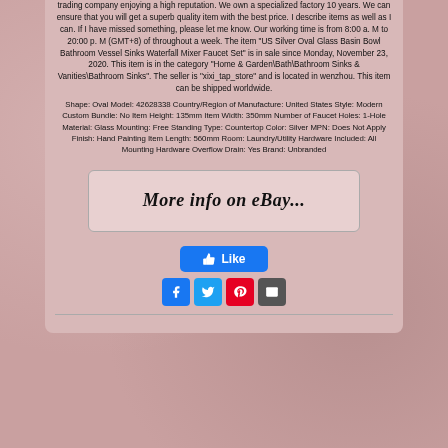trading company enjoying a high reputation. We own a specialized factory 10 years. We can ensure that you will get a superb quality item with the best price. I describe items as well as I can. If I have missed something, please let me know. Our working time is from 8:00 a. M to 20:00 p. M (GMT+8) of throughout a week. The item "US Silver Oval Glass Basin Bowl Bathroom Vessel Sinks Waterfall Mixer Faucet Set" is in sale since Monday, November 23, 2020. This item is in the category "Home & Garden\Bath\Bathroom Sinks & Vanities\Bathroom Sinks". The seller is "xixi_tap_store" and is located in wenzhou. This item can be shipped worldwide.
Shape: Oval Model: 42628338 Country/Region of Manufacture: United States Style: Modern Custom Bundle: No Item Height: 135mm Item Width: 350mm Number of Faucet Holes: 1-Hole Material: Glass Mounting: Free Standing Type: Countertop Color: Silver MPN: Does Not Apply Finish: Hand Painting Item Length: 560mm Room: Laundry/Utility Hardware Included: All Mounting Hardware Overflow Drain: Yes Brand: Unbranded
[Figure (screenshot): More info on eBay... link button styled as handwritten/cursive text in a rounded rectangle box]
[Figure (infographic): Facebook Like button (blue) and social sharing icons: Facebook, Twitter, Pinterest, Email]